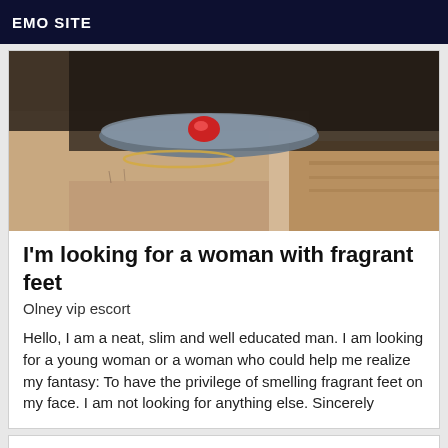EMO SITE
[Figure (photo): Close-up photo of a foot wearing a sandal with a red jewel accent and ankle bracelet, positioned on a wooden surface]
I'm looking for a woman with fragrant feet
Olney vip escort
Hello, I am a neat, slim and well educated man. I am looking for a young woman or a woman who could help me realize my fantasy: To have the privilege of smelling fragrant feet on my face. I am not looking for anything else. Sincerely